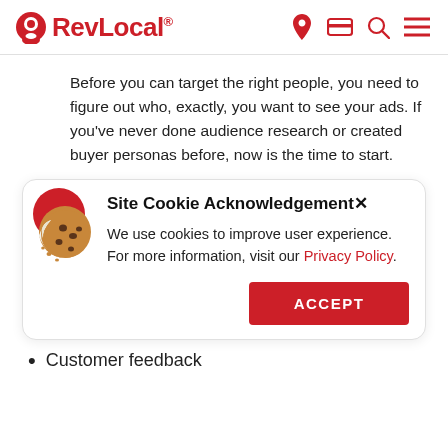RevLocal® [navigation icons: location, card, search, menu]
Before you can target the right people, you need to figure out who, exactly, you want to see your ads. If you've never done audience research or created buyer personas before, now is the time to start.
[Figure (screenshot): Site Cookie Acknowledgement modal with cookie illustration, text about cookies and Privacy Policy link, and an ACCEPT button]
Customer feedback